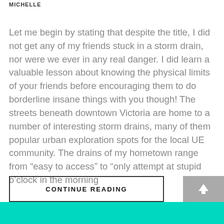MICHELLE
Let me begin by stating that despite the title, I did not get any of my friends stuck in a storm drain, nor were we ever in any real danger. I did learn a valuable lesson about knowing the physical limits of your friends before encouraging them to do borderline insane things with you though! The streets beneath downtown Victoria are home to a number of interesting storm drains, many of them popular urban exploration spots for the local UE community. The drains of my hometown range from “easy to access” to “only attempt at stupid o’clock in the morning
CONTINUE READING